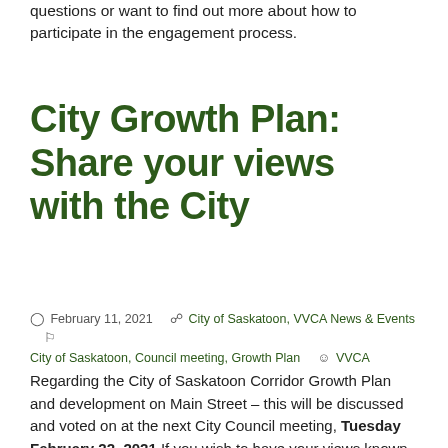questions or want to find out more about how to participate in the engagement process.
City Growth Plan: Share your views with the City
February 11, 2021   City of Saskatoon, VVCA News & Events   City of Saskatoon, Council meeting, Growth Plan   VVCA
Regarding the City of Saskatoon Corridor Growth Plan and development on Main Street – this will be discussed and voted on at the next City Council meeting, Tuesday February 22, 2021.If you wish to have your views known on either or both of these issues, consider writing a letter to your Councillor, or applying to speak at the Council